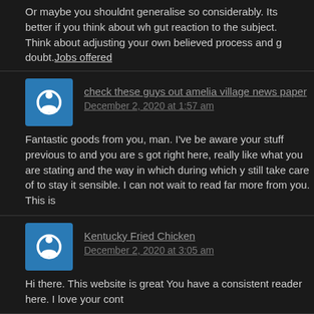Or maybe you shouldnt generalise so considerably. Its better if you think about wh gut reaction to the subject. Think about adjusting your own believed process and g doubt. Jobs offered
check these guys out amelia village news paper
December 2, 2020 at 1:57 am
Fantastic goods from you, man. I've be aware your stuff previous to and you are s got right here, really like what you are stating and the way in which during which y still take care of to stay it sensible. I can not wait to read far more from you. This is
Kentucky Fried Chicken
December 2, 2020 at 3:05 am
Hi there. This website is great You have a consistent reader here. I love your cont
Office furniture removal
December 2, 2020 at 3:21 am
I gotta bo...eficial
[Figure (screenshot): BitLife advertisement banner with emoji characters (devil, person with hands up, angel winking) and BitLife REAL CHOICES text on red background]